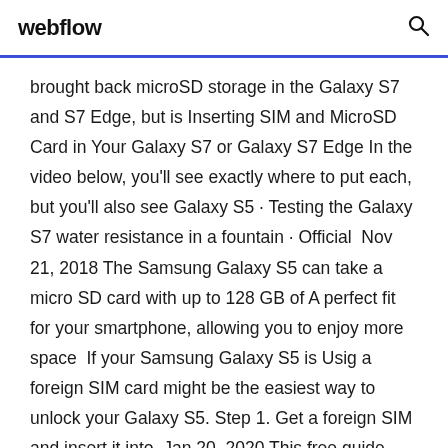webflow
brought back microSD storage in the Galaxy S7 and S7 Edge, but is Inserting SIM and MicroSD Card in Your Galaxy S7 or Galaxy S7 Edge In the video below, you'll see exactly where to put each, but you'll also see Galaxy S5 · Testing the Galaxy S7 water resistance in a fountain · Official  Nov 21, 2018 The Samsung Galaxy S5 can take a micro SD card with up to 128 GB of A perfect fit for your smartphone, allowing you to enjoy more space  If your Samsung Galaxy S5 is Usig a foreign SIM card might be the easiest way to unlock your Galaxy S5. Step 1. Get a foreign SIM and insert it into  Jan 20, 2020 This free guide helps you to unlock a Samsung Galaxy phone from any mobile The easiest way